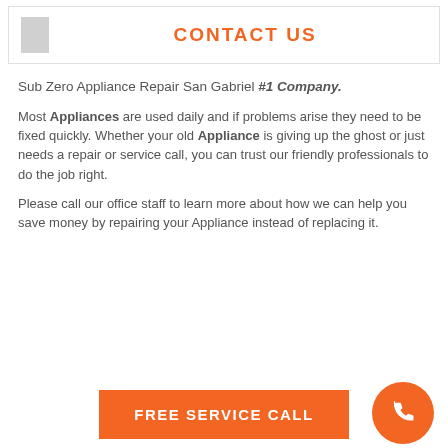CONTACT US
Sub Zero Appliance Repair San Gabriel #1 Company.
Most Appliances are used daily and if problems arise they need to be fixed quickly. Whether your old Appliance is giving up the ghost or just needs a repair or service call, you can trust our friendly professionals to do the job right.
Please call our office staff to learn more about how we can help you save money by repairing your Appliance instead of replacing it.
FREE SERVICE CALL